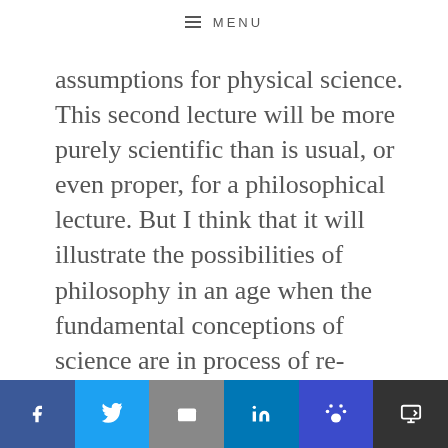MENU
assumptions for physical science. This second lecture will be more purely scientific than is usual, or even proper, for a philosophical lecture. But I think that it will illustrate the possibilities of philosophy in an age when the fundamental conceptions of science are in process of re-constitution. I have planned the two lectures together so that they may jointly